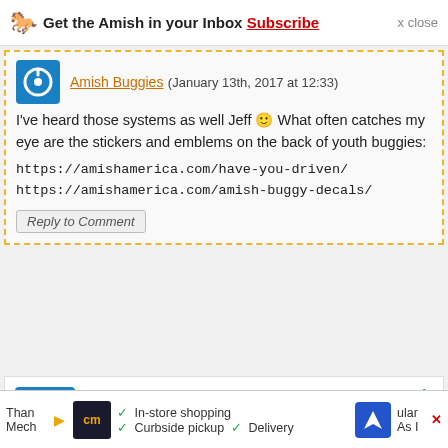Get the Amish in your Inbox Subscribe x close
Amish Buggies (January 13th, 2017 at 12:33)
I've heard those systems as well Jeff 🙂 What often catches my eye are the stickers and emblems on the back of youth buggies:

https://amishamerica.com/have-you-driven/

https://amishamerica.com/amish-buggy-decals/
Reply to Comment
Al in Ky
Comment on 5 Things That Might Surprise You About Amish Buggies (January 12th, 2017 at 14:49)
Than... Mech... ular As I